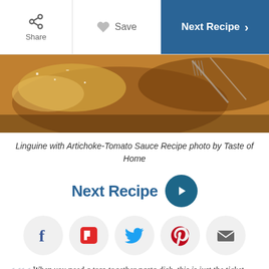Share | Save | Next Recipe
[Figure (photo): Food photo of linguine with artichoke-tomato sauce on a wooden board]
Linguine with Artichoke-Tomato Sauce Recipe photo by Taste of Home
Next Recipe
[Figure (infographic): Social sharing icons: Facebook, Flipboard, Twitter, Pinterest, Email]
When you need a toss-together pasta dish, this is just the ticket. Tart marinated artichokes enhance the tomatoes. The sauce is so flavorful, no one will miss the meat. —Mary Ann Lee, Clifton Park, New York